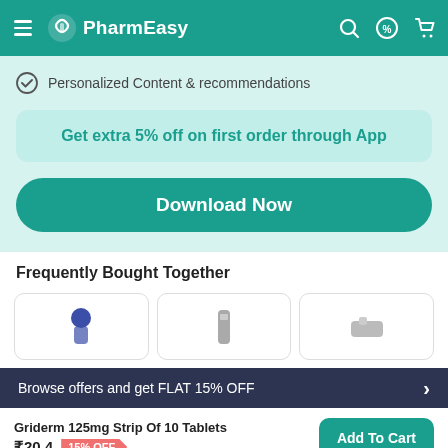[Figure (screenshot): PharmEasy app header with hamburger menu, logo, search, offers, and cart icons on teal background]
Personalized Content & recommendations
Get extra 5% off on first order through App
Download Now
Frequently Bought Together
[Figure (photo): Three product card thumbnails shown in a horizontal row]
Browse offers and get FLAT 15% OFF
Griderm 125mg Strip Of 10 Tablets
₹20.4  15% OFF
Add To Cart